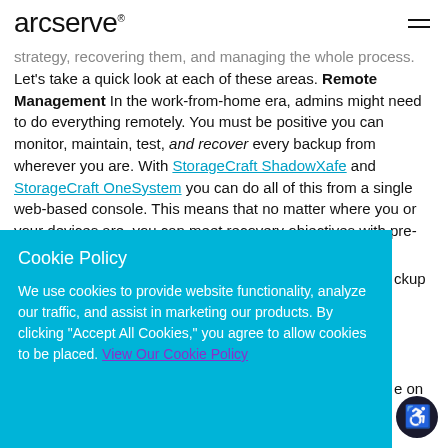arcserve
...strategy, recovering them, and managing the whole process. Let's take a quick look at each of these areas. Remote Management In the work-from-home era, admins might need to do everything remotely. You must be positive you can monitor, maintain, test, and recover every backup from wherever you are. With StorageCraft ShadowXafe and StorageCraft OneSystem you can do all of this from a single web-based console. This means that no matter where you or your devices are, you can meet recovery objectives with pre-defined policies, all with a few clicks. Remote Backups
Cookie Policy
We use cookies to provide website functionality, analyze our traffic, and assist in marketing our products. By clicking "Accept All Cookies," you agree to allow cookies to be placed. View Our Cookie Policy